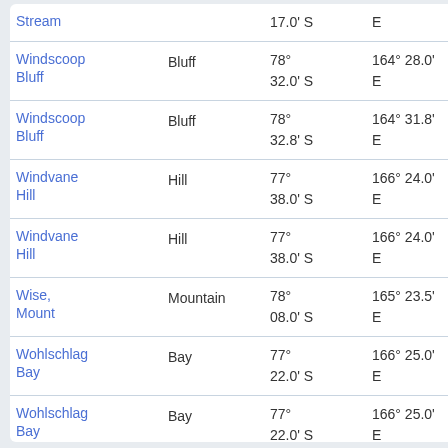| Name | Type | Latitude | Longitude | Distance |
| --- | --- | --- | --- | --- |
| Stream |  | 17.0' S | E | at 15° |
| Windscoop Bluff | Bluff | 78° 32.0' S | 164° 28.0' E | 56.4 k at 203 |
| Windscoop Bluff | Bluff | 78° 32.8' S | 164° 31.8' E | 57.3 k at 201 |
| Windvane Hill | Hill | 77° 38.0' S | 166° 24.0' E | 53.1 k at 25° |
| Windvane Hill | Hill | 77° 38.0' S | 166° 24.0' E | 53.1 k at 25° |
| Wise, Mount | Mountain | 78° 08.0' S | 165° 23.5' E | 7.5 km 190° |
| Wohlschlag Bay | Bay | 77° 22.0' S | 166° 25.0' E | 81.1 k at 17° |
| Wohlschlag Bay | Bay | 77° 22.0' S | 166° 25.0' E | 81.1 k at 17° |